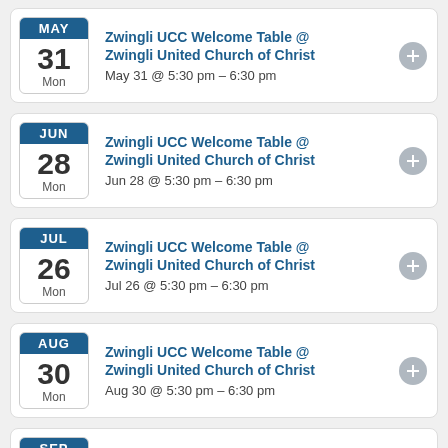MAY 31 Mon | Zwingli UCC Welcome Table @ Zwingli United Church of Christ | May 31 @ 5:30 pm – 6:30 pm
JUN 28 Mon | Zwingli UCC Welcome Table @ Zwingli United Church of Christ | Jun 28 @ 5:30 pm – 6:30 pm
JUL 26 Mon | Zwingli UCC Welcome Table @ Zwingli United Church of Christ | Jul 26 @ 5:30 pm – 6:30 pm
AUG 30 Mon | Zwingli UCC Welcome Table @ Zwingli United Church of Christ | Aug 30 @ 5:30 pm – 6:30 pm
SEP 27 Mon | Zwingli UCC Welcome Table @ Zwingli United Church of Christ | Sep 27 @ 5:30 pm – 6:30 pm
OCT (partial)